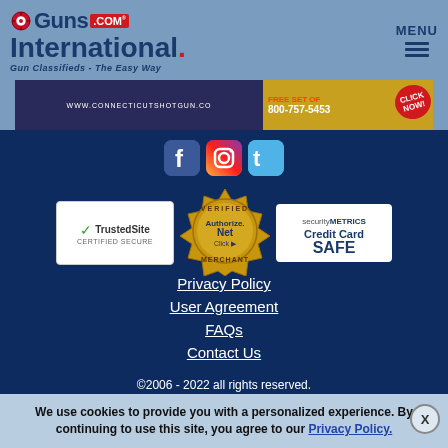[Figure (logo): GunsInternational.com logo with crosshair icon, red .COM badge, and tagline 'Gun Classifieds - The Easy Way']
[Figure (logo): MENU hamburger icon]
[Figure (screenshot): Advertisement banner for Connecticut Shotgun with website www.connecticutshotgun.co and phone 800-757-5453]
[Figure (logo): Social media icons: Facebook, Instagram, Twitter]
[Figure (logo): TrustedSite Certified Secure badge]
[Figure (logo): Authorize.Net Verified Merchant seal]
[Figure (logo): SecurityMetrics Credit Card Safe badge]
Privacy Policy
User Agreement
FAQs
Contact Us
©2006 - 2022 all rights reserved.
We use cookies to provide you with a personalized experience. By continuing to use this site, you agree to our Privacy Policy.